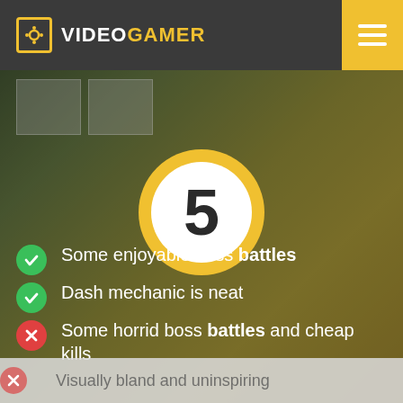VideoGamer
[Figure (infographic): Score badge showing the number 5 inside a white circle with a gold ring, overlaid on a game screenshot background]
Some enjoyable boss battles
Dash mechanic is neat
Some horrid boss battles and cheap kills
Visually bland and uninspiring